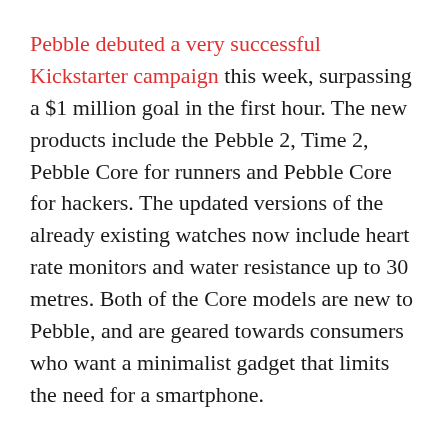Pebble debuted a very successful Kickstarter campaign this week, surpassing a $1 million goal in the first hour. The new products include the Pebble 2, Time 2, Pebble Core for runners and Pebble Core for hackers. The updated versions of the already existing watches now include heart rate monitors and water resistance up to 30 metres. Both of the Core models are new to Pebble, and are geared towards consumers who want a minimalist gadget that limits the need for a smartphone.
Pebble claims to be an inexpensive and functional solution for those who are looking for a smartwatch, but don't want to shell out hundreds of dollars. The Pebble Core will retail for $99, the Pebble 2 for $129 and the Time 2 for $199.